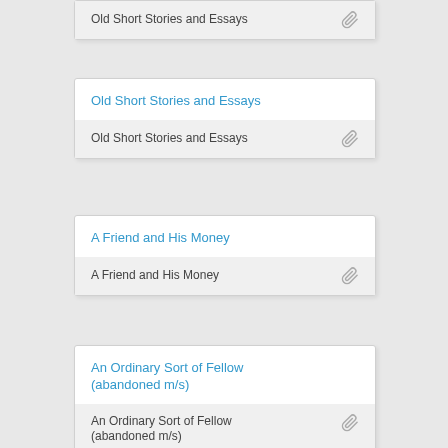Old Short Stories and Essays
Old Short Stories and Essays
A Friend and His Money
A Friend and His Money
An Ordinary Sort of Fellow (abandoned m/s)
An Ordinary Sort of Fellow (abandoned m/s)
A Life For the Asking